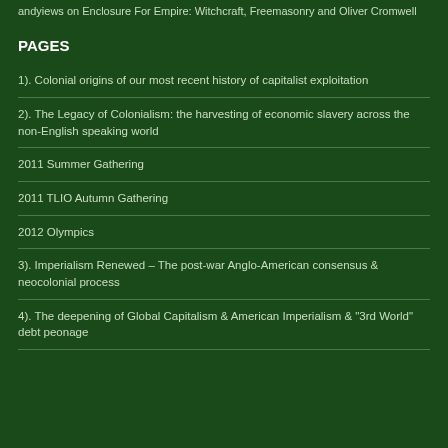andyiews on Enclosure For Empire: Witchcraft, Freemasonry and Oliver Cromwell
PAGES
1). Colonial origins of our most recent history of capitalist exploitation
2). The Legacy of Colonialism: the harvesting of economic slavery across the non-English speaking world
2011 Summer Gathering
2011 TLIO Autumn Gathering
2012 Olympics
3). Imperialism Renewed – The post-war Anglo-American consensus & neocolonial process
4). The deepening of Global Capitalism & American Imperialism & "3rd World" debt peonage